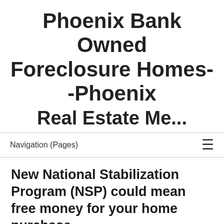Phoenix Bank Owned Foreclosure Homes--Phoenix
Navigation (Pages)
New National Stabilization Program (NSP) could mean free money for your home purchase
July 17, 2009 By azjoemartin
Free money for your new home purchase? If you are buying a Phoenix foreclosure property there could be free money for you as long as you qualify. Under the new National Stabilization Program, if you combine it with an FHA loan not only could you get into the home with less money down, you could save tens of thousands off your mortgage.